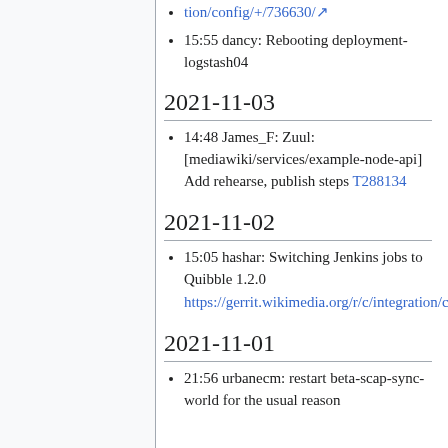tion/config/+/736630/ [link]
15:55 dancy: Rebooting deployment-logstash04
2021-11-03
14:48 James_F: Zuul: [mediawiki/services/example-node-api] Add rehearse, publish steps T288134
2021-11-02
15:05 hashar: Switching Jenkins jobs to Quibble 1.2.0 https://gerrit.wikimedia.org/r/c/integration/config/+/736240 [link]
2021-11-01
21:56 urbanecm: restart beta-scap-sync-world for the usual reason